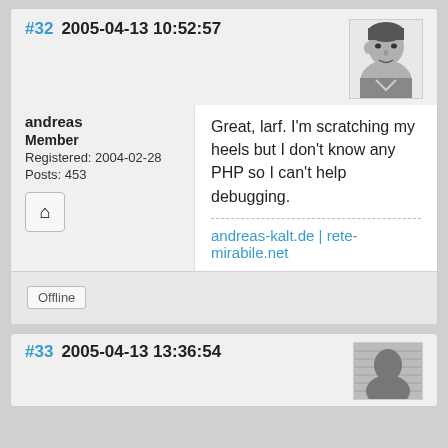#32  2005-04-13 10:52:57
andreas
Member
Registered: 2004-02-28
Posts: 453
[Figure (photo): Black and white avatar photo of a man]
Great, larf. I'm scratching my heels but I don't know any PHP so I can't help debugging.
andreas-kalt.de | rete-mirabile.net
Offline
#33  2005-04-13 13:36:54